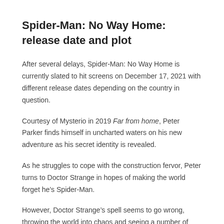Spider-Man: No Way Home: release date and plot
After several delays, Spider-Man: No Way Home is currently slated to hit screens on December 17, 2021 with different release dates depending on the country in question.
Courtesy of Mysterio in 2019 Far from home, Peter Parker finds himself in uncharted waters on his new adventure as his secret identity is revealed.
As he struggles to cope with the construction fervor, Peter turns to Doctor Strange in hopes of making the world forget he’s Spider-Man.
However, Doctor Strange’s spell seems to go wrong, throwing the world into chaos and seeing a number of familiar faces reappear.